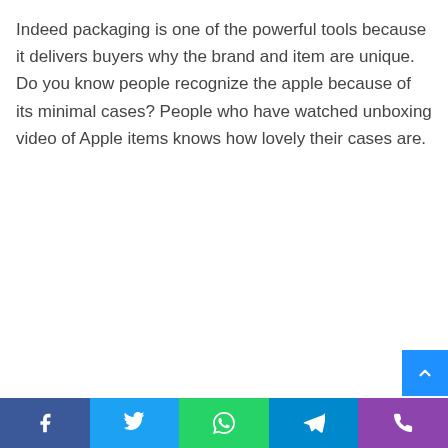Indeed packaging is one of the powerful tools because it delivers buyers why the brand and item are unique. Do you know people recognize the apple because of its minimal cases? People who have watched unboxing video of Apple items knows how lovely their cases are.
[Figure (other): Scroll-to-top button (blue square with upward chevron arrow) in bottom-right corner, and a social sharing bar at the bottom with Facebook, Twitter, WhatsApp, Telegram, and Phone icons.]